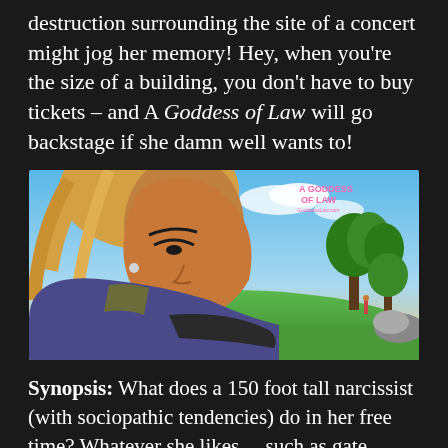destruction surrounding the site of a concert might jog her memory! Hey, when you're the size of a building, you don't have to buy tickets – and A Goddess of Law will go backstage if she damn well wants to!
[Figure (illustration): Comic book style illustration showing a large blonde woman in a police uniform lying down and looking at a tiny person standing on green grass, with trees and blue sky in background. Pink text 'A Goddess of Law' visible in upper right.]
Synopsis: What does a 150 foot tall narcissist (with sociopathic tendencies) do in her free time? Whatever she likes... such as gate